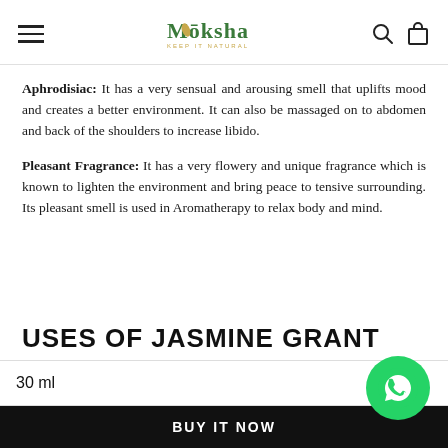Moksha — Keep it Natural
Aphrodisiac: It has a very sensual and arousing smell that uplifts mood and creates a better environment. It can also be massaged on to abdomen and back of the shoulders to increase libido.
Pleasant Fragrance: It has a very flowery and unique fragrance which is known to lighten the environment and bring peace to tensive surrounding. Its pleasant smell is used in Aromatherapy to relax body and mind.
USES OF JASMINE GRANT
30 ml
BUY IT NOW